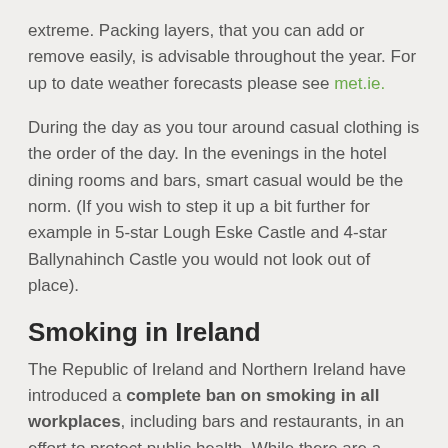extreme. Packing layers, that you can add or remove easily, is advisable throughout the year. For up to date weather forecasts please see met.ie.
During the day as you tour around casual clothing is the order of the day. In the evenings in the hotel dining rooms and bars, smart casual would be the norm. (If you wish to step it up a bit further for example in 5-star Lough Eske Castle and 4-star Ballynahinch Castle you would not look out of place).
Smoking in Ireland
The Republic of Ireland and Northern Ireland have introduced a complete ban on smoking in all workplaces, including bars and restaurants, in an effort to protect public health. While there are a small number of hotels that allow smoking in designated bedrooms, smoking is prohibited in every other